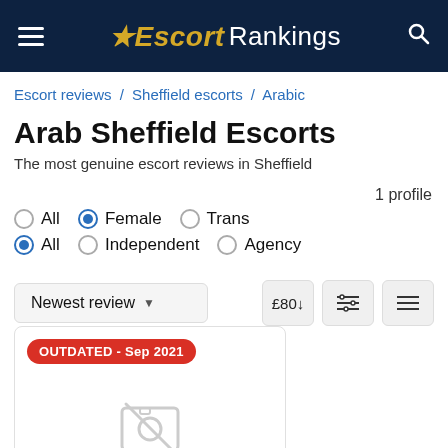Escort Rankings
Escort reviews / Sheffield escorts / Arabic
Arab Sheffield Escorts
The most genuine escort reviews in Sheffield
1 profile
All  Female  Trans
All  Independent  Agency
Newest review  £80↓
[Figure (screenshot): Profile card with OUTDATED - Sep 2021 badge and no photo icon]